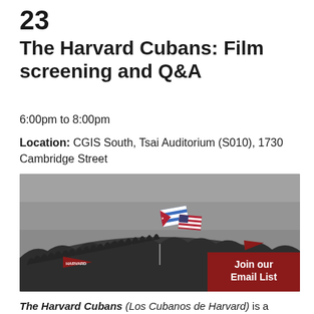23
The Harvard Cubans: Film screening and Q&A
6:00pm to 8:00pm
Location: CGIS South, Tsai Auditorium (S010), 1730 Cambridge Street
[Figure (photo): Black and white photograph of a large crowd with Cuban and American flags waving above, with a red Harvard banner on the left. A red button overlaid in the bottom right reads 'Join our Email List'.]
The Harvard Cubans (Los Cubanos de Harvard) is a documentary film, produced by the Cuba